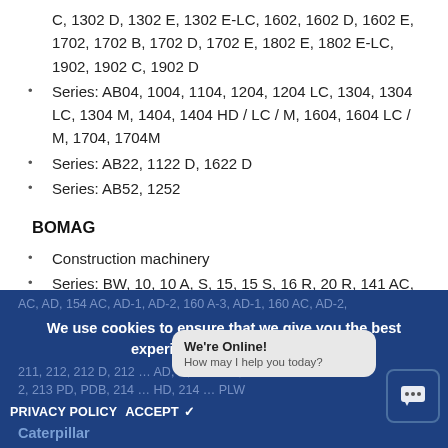C, 1302 D, 1302 E, 1302 E-LC, 1602, 1602 D, 1602 E, 1702, 1702 B, 1702 D, 1702 E, 1802 E, 1802 E-LC, 1902, 1902 C, 1902 D
Series: AB04, 1004, 1104, 1204, 1204 LC, 1304, 1304 LC, 1304 M, 1404, 1404 HD / LC / M, 1604, 1604 LC / M, 1704, 1704M
Series: AB22, 1122 D, 1622 D
Series: AB52, 1252
BOMAG
Construction machinery
Series: BW, 10, 10 A, S, 15, 15 S, 16 R, 20 R, 141 AC, AD, 142, 142 D, PD, 6, 6 S, 142 PDB, 144 AC, AD-1, AD -2, 151 AC, AD, 154 AC, AD-1, AD-2, 160 A-3, AD-1, 160 AC, AD-2, 211, 212, 212 D, 212 … AD, D, 213 D-2, 213 PD-2, 213 PD, PDB, 214 … HD, 214 … PLW …
Caterpillar